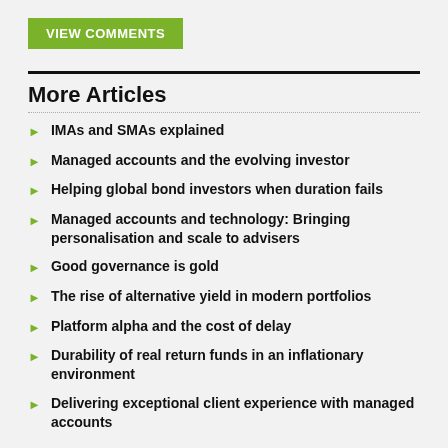[Figure (other): Green button labeled VIEW COMMENTS]
More Articles
IMAs and SMAs explained
Managed accounts and the evolving investor
Helping global bond investors when duration fails
Managed accounts and technology: Bringing personalisation and scale to advisers
Good governance is gold
The rise of alternative yield in modern portfolios
Platform alpha and the cost of delay
Durability of real return funds in an inflationary environment
Delivering exceptional client experience with managed accounts